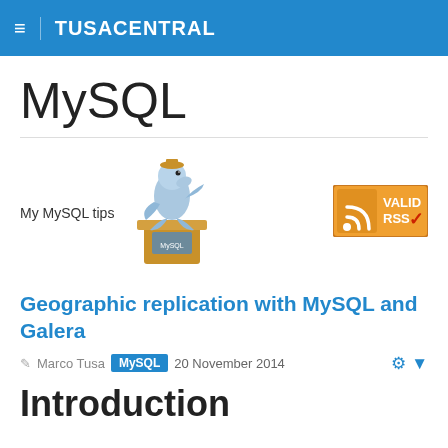≡  TUSACENTRAL
MySQL
[Figure (illustration): MySQL dolphin mascot standing at a podium]
[Figure (logo): Valid RSS badge with orange RSS icon and red checkmark]
My MySQL tips
Geographic replication with MySQL and Galera
Marco Tusa  MySQL  20 November 2014
Introduction